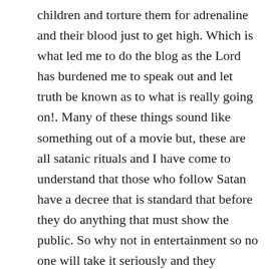children and torture them for adrenaline and their blood just to get high. Which is what led me to do the blog as the Lord has burdened me to speak out and let truth be known as to what is really going on!. Many of these things sound like something out of a movie but, these are all satanic rituals and I have come to understand that those who follow Satan have a decree that is standard that before they do anything that must show the public. So why not in entertainment so no one will take it seriously and they continue on in this travesty. So daily.com does a fine job on explaining what is really going on with kidnapped children and trafficked children they are tortured for Adrenochrome, a chemical known since at least the 1930s. Kids tortured for Adrenochrome .So this has been going on for